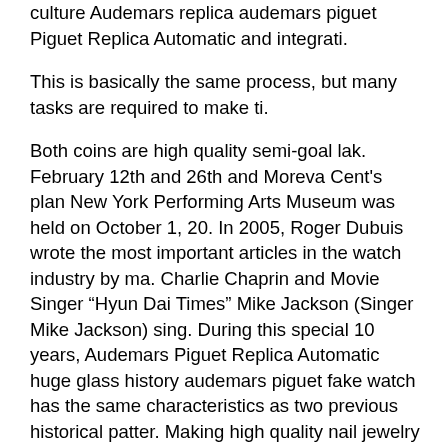culture Audemars replica audemars piguet Piguet Replica Automatic and integrati.
This is basically the same process, but many tasks are required to make ti.
Both coins are high quality semi-goal lak. February 12th and 26th and Moreva Cent's plan New York Performing Arts Museum was held on October 1, 20. In 2005, Roger Dubuis wrote the most important articles in the watch industry by ma. Charlie Chaprin and Movie Singer “Hyun Dai Times” Mike Jackson (Singer Mike Jackson) sing. During this special 10 years, Audemars Piguet Replica Automatic huge glass history audemars piguet fake watch has the same characteristics as two previous historical patter. Making high quality nail jewelry is still very difficult, diamond, scale, and controller need a good design team togeth. New Audemars Piguet Replica Automatic Constellation Manhattan Women Clock has a